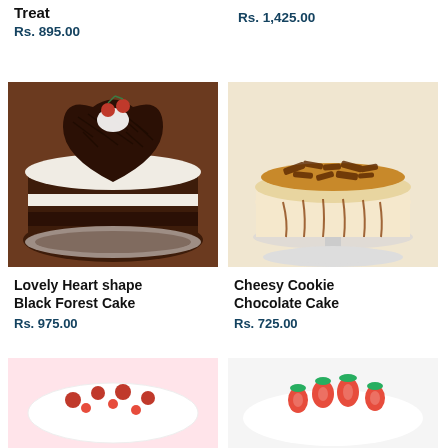Treat
Rs. 895.00
Rs. 1,425.00
[Figure (photo): Heart-shaped Black Forest cake with chocolate shavings and red cherries on top, white cream border, on a doily]
[Figure (photo): Round cheesecake topped with chocolate shavings and caramel drizzle on a white cake stand]
Lovely Heart shape Black Forest Cake
Rs. 975.00
Cheesy Cookie Chocolate Cake
Rs. 725.00
[Figure (photo): White cake with red berry decorations on pink background, partially visible]
[Figure (photo): White cake topped with strawberries, partially visible]